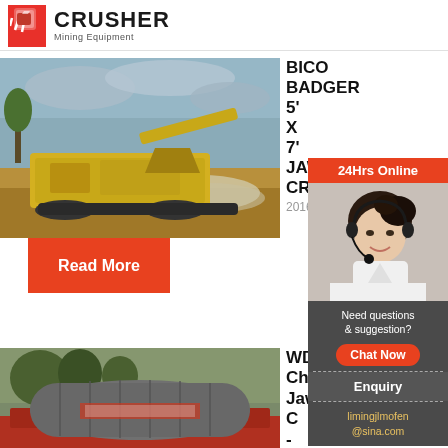CRUSHER Mining Equipment
[Figure (photo): Yellow mobile jaw crusher machine on a job site with gravel and cloudy sky background]
BICO BADGER 5' X 7' JAW CRUSHER
2016-2-2
Read More
[Figure (photo): Large cylindrical industrial mill or drum on a flatbed truck, with trees in background]
WD Chipman Jaw Crusher - BICO Inc
[Figure (infographic): Sidebar advertisement panel: 24Hrs Online, woman with headset smiling, Need questions & suggestion?, Chat Now button, Enquiry link, limingjlmofen@sina.com email]